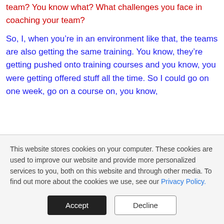team? You know what? What challenges you face in coaching your team?
So, I, when you're in an environment like that, the teams are also getting the same training. You know, they're getting pushed onto training courses and you know, you were getting offered stuff all the time. So I could go on one week, go on a course on, you know,
This website stores cookies on your computer. These cookies are used to improve our website and provide more personalized services to you, both on this website and through other media. To find out more about the cookies we use, see our Privacy Policy.